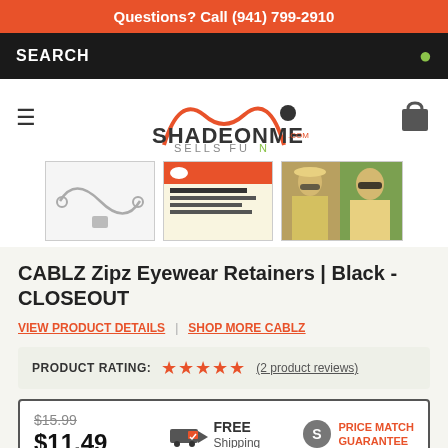Questions? Call (941) 799-2910
SEARCH
[Figure (logo): SHADEONME.COM SELLS FUN logo with orange arch and dot]
[Figure (photo): Three product thumbnail images: cable eyewear retainer, product info card, and person wearing sunglasses outdoors]
CABLZ Zipz Eyewear Retainers | Black - CLOSEOUT
VIEW PRODUCT DETAILS | SHOP MORE CABLZ
PRODUCT RATING: ★★★★★ (2 product reviews)
$15.99 $11.49 FREE Shipping PRICE MATCH GUARANTEE